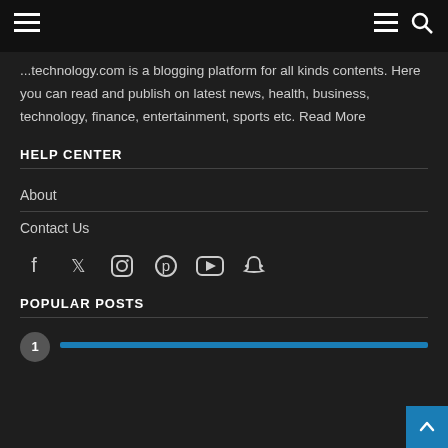Navigation bar with hamburger menu, menu icon, and search icon
...technology.com is a blogging platform for all kinds contents. Here you can read and publish on latest news, health, business, technology, finance, entertainment, sports etc. Read More
HELP CENTER
About
Contact Us
[Figure (illustration): Social media icons: Facebook, Twitter, Instagram, Pinterest, YouTube, Snapchat]
POPULAR POSTS